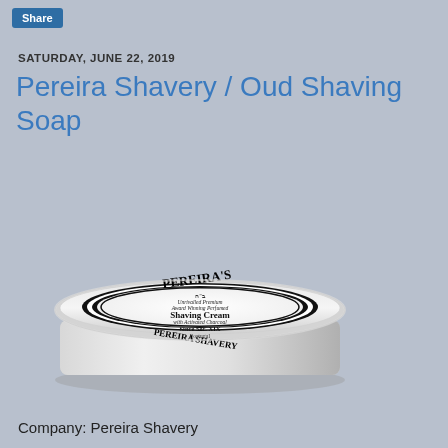Share
SATURDAY, JUNE 22, 2019
Pereira Shavery / Oud Shaving Soap
[Figure (photo): Tin container of Pereira's Shavery Shaving Cream with Activated Charcoal product, showing the circular label with decorative border. Label reads: PEREIRA'S, Unrivalled Premium Award Winning Perfumed Shaving Cream with Activated Charcoal, Since Sec. XIX, Portugal, PEREIRA SHAVERY.]
Company: Pereira Shavery